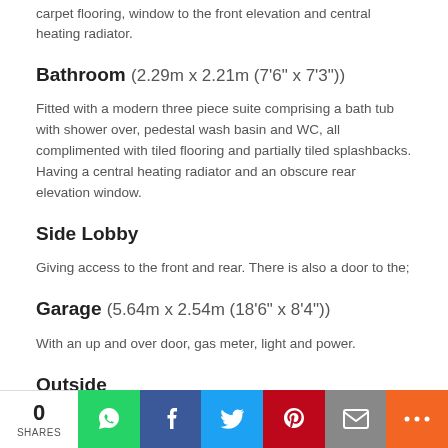carpet flooring, window to the front elevation and central heating radiator.
Bathroom (2.29m x 2.21m (7'6" x 7'3"))
Fitted with a modern three piece suite comprising a bath tub with shower over, pedestal wash basin and WC, all complimented with tiled flooring and partially tiled splashbacks. Having a central heating radiator and an obscure rear elevation window.
Side Lobby
Giving access to the front and rear. There is also a door to the;
Garage (5.64m x 2.54m (18'6" x 8'4"))
With an up and over door, gas meter, light and power.
Outside
A particular selling feature of the accommodation is the plot which